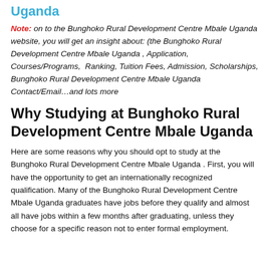Uganda
Note: on to the Bunghoko Rural Development Centre Mbale Uganda website, you will get an insight about: (the Bunghoko Rural Development Centre Mbale Uganda , Application, Courses/Programs, Ranking, Tuition Fees, Admission, Scholarships, Bunghoko Rural Development Centre Mbale Uganda Contact/Email…and lots more
Why Studying at Bunghoko Rural Development Centre Mbale Uganda
Here are some reasons why you should opt to study at the Bunghoko Rural Development Centre Mbale Uganda . First, you will have the opportunity to get an internationally recognized qualification. Many of the Bunghoko Rural Development Centre Mbale Uganda graduates have jobs before they qualify and almost all have jobs within a few months after graduating, unless they choose for a specific reason not to enter formal employment.